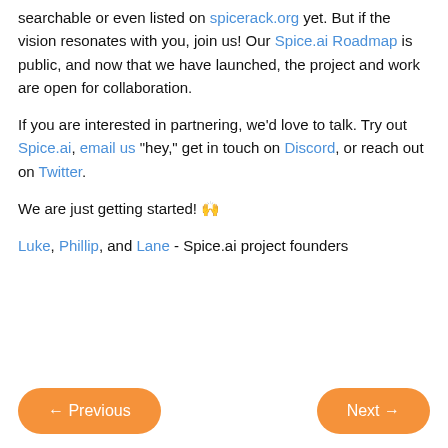searchable or even listed on spicerack.org yet. But if the vision resonates with you, join us! Our Spice.ai Roadmap is public, and now that we have launched, the project and work are open for collaboration.
If you are interested in partnering, we'd love to talk. Try out Spice.ai, email us "hey," get in touch on Discord, or reach out on Twitter.
We are just getting started! 🙌
Luke, Phillip, and Lane - Spice.ai project founders
← Previous   Next →